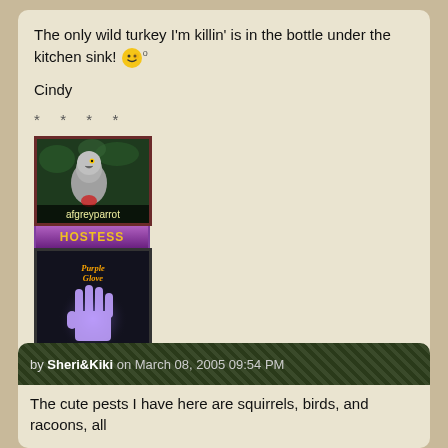The only wild turkey I'm killin' is in the bottle under the kitchen sink! 😙°
Cindy
* * * *
[Figure (photo): Avatar image of afgreyparrot - a grey parrot bird photo with dark green background, labeled 'afgreyparrot' at bottom]
[Figure (illustration): Purple Hostess badge bar followed by Purple Glove Award image - dark background with glowing purple hand and yellow gothic text reading 'Purple Glove Award']
Buckle up! It makes it harder for the aliens to suck you out of your car!
by Sheri&Kiki on March 08, 2005 09:54 PM
The cute pests I have here are squirrels, birds, and racoons, all